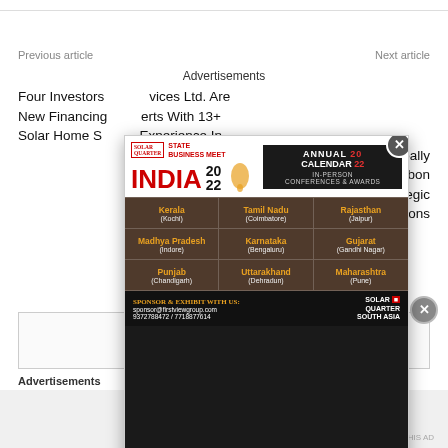Previous article | Next article
Advertisements
Four Investors... vices Ltd. Are New Financing... erts With 13+ Solar Home S... Experience In ... esses Globally ... Their Carbon ... ough Strategic Solutions
[Figure (infographic): Solar Quarter State Business Meet India 2022 advertisement overlay with city grid showing Kerala (Kochi), Tamil Nadu (Coimbatore), Rajasthan (Jaipur), Madhya Pradesh (Indore), Karnataka (Bengaluru), Gujarat (Gandhi Nagar), Punjab (Chandigarh), Uttarakhand (Dehradun), Maharashtra (Pune). Annual Calendar 2022 In-Person Conferences & Awards. Sponsor contact details.]
Advertisements